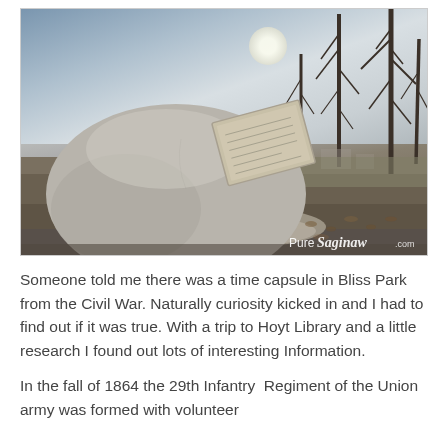[Figure (photo): Outdoor photo of a large granite boulder with a metal plaque on it, sitting in a park (Bliss Park). Bare winter trees in the background against an overcast sky with a bright sun. A curved concrete path surrounds the base of the boulder. Fallen leaves on the ground. Watermark reads 'Pure Saginaw .com' in the lower right corner.]
Someone told me there was a time capsule in Bliss Park from the Civil War. Naturally curiosity kicked in and I had to find out if it was true. With a trip to Hoyt Library and a little research I found out lots of interesting Information.
In the fall of 1864 the 29th Infantry Regiment of the Union army was formed with volunteer